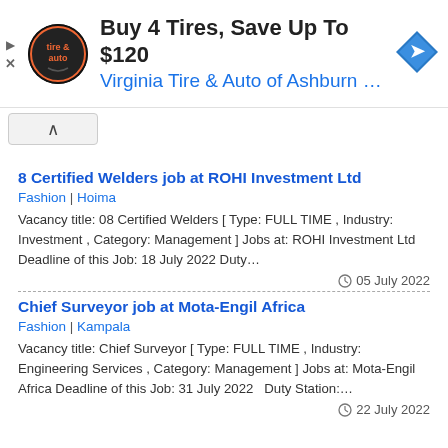[Figure (screenshot): Advertisement banner for Virginia Tire & Auto of Ashburn. Shows circular logo, headline 'Buy 4 Tires, Save Up To $120', subtext 'Virginia Tire & Auto of Ashburn …', and a blue diamond arrow icon.]
8 Certified Welders job at ROHI Investment Ltd
Fashion | Hoima
Vacancy title: 08 Certified Welders [ Type: FULL TIME , Industry: Investment , Category: Management ] Jobs at: ROHI Investment Ltd Deadline of this Job: 18 July 2022  Duty…
05 July 2022
Chief Surveyor job at Mota-Engil Africa
Fashion | Kampala
Vacancy title: Chief Surveyor [ Type: FULL TIME , Industry: Engineering Services , Category: Management ] Jobs at: Mota-Engil Africa Deadline of this Job: 31 July 2022   Duty Station:…
22 July 2022